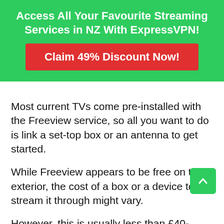Access All Your Favourite Streaming Services in NZ With ExpressVPN!
Claim 49% Discount Now!
Most current TVs come pre-installed with the Freeview service, so all you want to do is link a set-top box or an antenna to get started.
While Freeview appears to be free on the exterior, the cost of a box or a device to stream it through might vary.
However, this is usually less than £40-